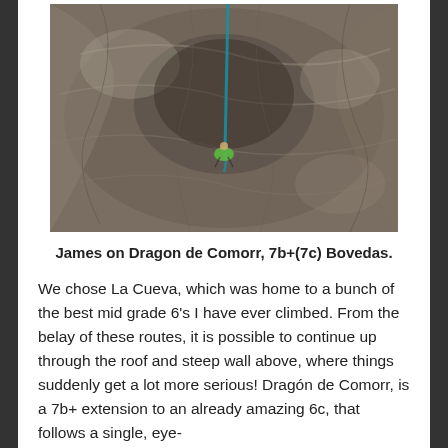[Figure (photo): A climber in a green shirt on a steep rock face, viewed from above, showing dramatic rock formations and a rope hanging down.]
James on Dragon de Comorr, 7b+(7c) Bovedas.
We chose La Cueva, which was home to a bunch of the best mid grade 6's I have ever climbed. From the belay of these routes, it is possible to continue up through the roof and steep wall above, where things suddenly get a lot more serious! Dragón de Comorr, is a 7b+ extension to an already amazing 6c, that follows a single, eye-